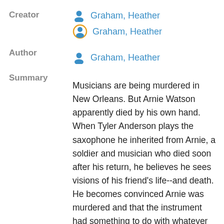Creator
Graham, Heather
Graham, Heather
Author
Graham, Heather
Summary
Musicians are being murdered in New Orleans. But Arnie Watson apparently died by his own hand. When Tyler Anderson plays the saxophone he inherited from Arnie, a soldier and musician who died soon after his return, he believes he sees visions of his friend's life--and death. He becomes convinced Arnie was murdered and that the instrument had something to do with whatever happened, and with whatever's happening all over the city. Tyler knows his theory sounds crazy to the police, so